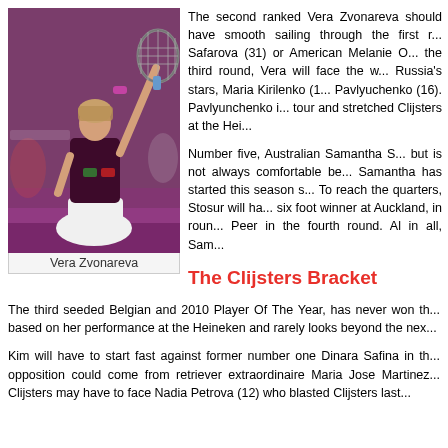[Figure (photo): Vera Zvonareva tennis player holding racket aloft, wearing dark maroon sleeveless top and white skirt, purple background with Qatar Open signage]
Vera Zvonareva
The second ranked Vera Zvonareva should have smooth sailing through the first r... Safarova (31) or American Melanie O... the third round, Vera will face the w... Russia's stars, Maria Kirilenko (1... Pavlyuchenko (16). Pavlyunchenko i... tour and stretched Clijsters at the Hei...
Number five, Australian Samantha S... but is not always comfortable be... Samantha has started this season s... To reach the quarters, Stosur will ha... six foot winner at Auckland, in roun... Peer in the fourth round. Al in all, Sam...
The Clijsters Bracket
The third seeded Belgian and 2010 Player Of The Year, has never won th... based on her performance at the Heineken and rarely looks beyond the nex...
Kim will have to start fast against former number one Dinara Safina in th... opposition could come from retriever extraordinaire Maria Jose Martinez... Clijsters may have to face Nadia Petrova (12) who blasted Clijsters last...